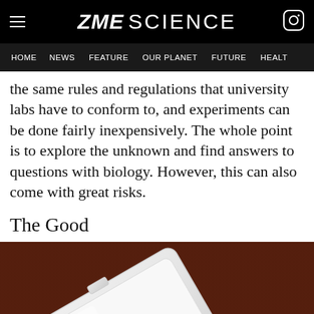ZME SCIENCE
HOME  NEWS  FEATURE  OUR PLANET  FUTURE  HEALT
the same rules and regulations that university labs have to conform to, and experiments can be done fairly inexpensively. The whole point is to explore the unknown and find answers to questions with biology. However, this can also come with great risks.
The Good
[Figure (photo): A white plastic petri dish or container tilted at an angle on a dark reddish-brown wooden surface]